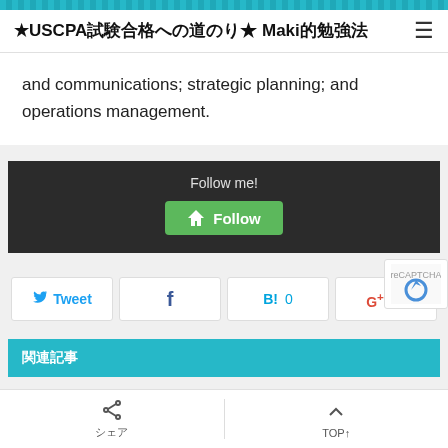★USCPA試験合格への道のり★ Maki的勉強法
and communications; strategic planning; and operations management.
[Figure (other): Dark follow widget box with 'Follow me!' text and a green Feedly Follow button]
[Figure (infographic): Social share buttons row: Tweet (Twitter), Facebook share, Hatena Bookmark with count 0, Google+1]
関連記事
シェア | TOP↑